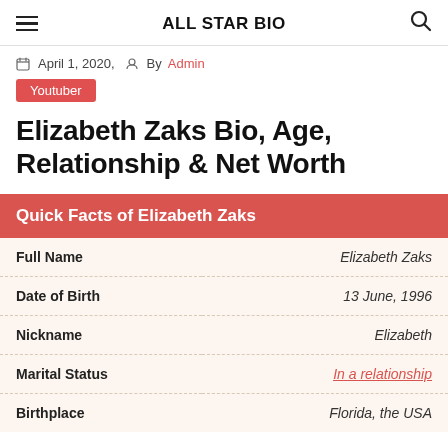ALL STAR BIO
April 1, 2020,   By Admin
Youtuber
Elizabeth Zaks Bio, Age, Relationship & Net Worth
|  |  |
| --- | --- |
| Full Name | Elizabeth Zaks |
| Date of Birth | 13 June, 1996 |
| Nickname | Elizabeth |
| Marital Status | In a relationship |
| Birthplace | Florida, the USA |